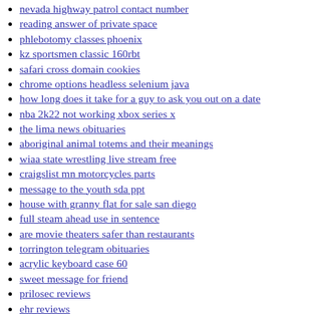nevada highway patrol contact number
reading answer of private space
phlebotomy classes phoenix
kz sportsmen classic 160rbt
safari cross domain cookies
chrome options headless selenium java
how long does it take for a guy to ask you out on a date
nba 2k22 not working xbox series x
the lima news obituaries
aboriginal animal totems and their meanings
wiaa state wrestling live stream free
craigslist mn motorcycles parts
message to the youth sda ppt
house with granny flat for sale san diego
full steam ahead use in sentence
are movie theaters safer than restaurants
torrington telegram obituaries
acrylic keyboard case 60
sweet message for friend
prilosec reviews
ehr reviews
grace period for expired tags
do guys like when girls text first
xnxx step mom vs son
child custody relocation letter